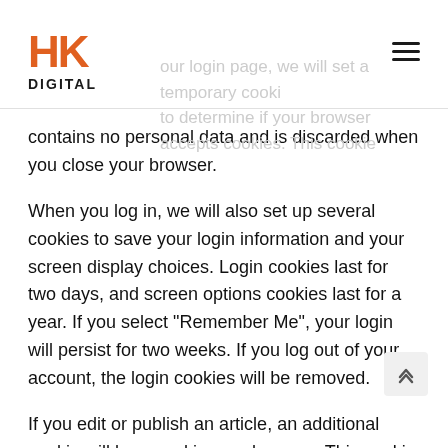HK DIGITAL
contains no personal data and is discarded when you close your browser.
When you log in, we will also set up several cookies to save your login information and your screen display choices. Login cookies last for two days, and screen options cookies last for a year. If you select "Remember Me", your login will persist for two weeks. If you log out of your account, the login cookies will be removed.
If you edit or publish an article, an additional cookie will be saved in your browser. This cookie includes no personal data and simply indicates the post ID of the article you just edited. It expires after 1 day.